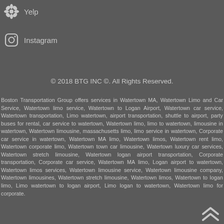Yelp
Instagram
© 2018 BTG INC ©. All Rights Reserved.
Boston Transportation Group offers services in Watertown MA, Watertown Limo and Car Service, Watertown limo service, Watertown to Logan Airport, Watertown car service, Watertown transportation, Limo watertown, airport transportation, shuttle to airport, party buses for rental, car service to watertown, Watertown limo, limo to watertown, limousine in watertown, Watertown limousine, massachusetts limo, limo service in watertown, Corporate car service in watertown, Watertown MA limo, Watertown limos, Watertown rent limo, Watertown corporate limo, Watertown town car limousine, Watertown luxury car services, Watertown stretch limousine, Watertown logan airport transportation, Corporate transportation, Corporate car service, Watertown MA limo, Logan airport to watertown, Watertown limos services, Watertown limousine service, Watertown limousine company, Watertown limousines, Watertown stretch limousine, Watertown limos, Watertown to logan limo, Limo watertown to logan airport, Limo logan to watertown, Watertown limo for corporate.
[Figure (illustration): Back to top chevron arrow icon]